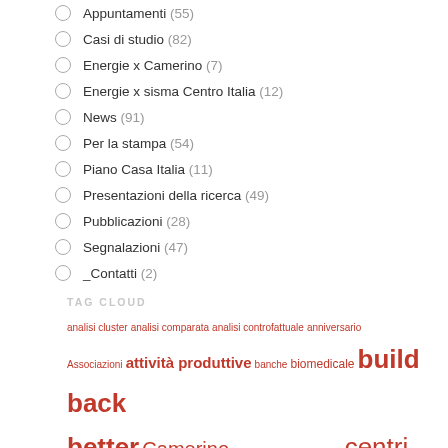Appuntamenti (55)
Casi di studio (82)
Energie x Camerino (7)
Energie x sisma Centro Italia (12)
News (91)
Per la stampa (54)
Piano Casa Italia (11)
Presentazioni della ricerca (49)
Pubblicazioni (28)
Segnalazioni (47)
_Contatti (2)
TAG CLOUD
analisi cluster analisi comparata analisi controfattuale anniversario Associazioni attività produttive banche biomedicale build back better Camerino CAPP Cardullo Cavezzo centri storici Christchurch Cispadana città collaborazioni commercio comunicazione